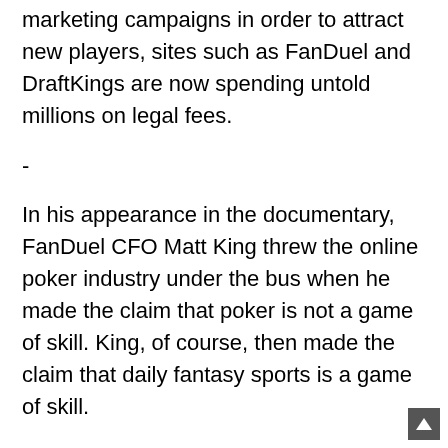marketing campaigns in order to attract new players, sites such as FanDuel and DraftKings are now spending untold millions on legal fees.
-
In his appearance in the documentary, FanDuel CFO Matt King threw the online poker industry under the bus when he made the claim that poker is not a game of skill. King, of course, then made the claim that daily fantasy sports is a game of skill.
The online poker industry has been making the case that poker is a game of skill for years in order to help become licensed and regulated in the United States. There is plenty of customer crossover between poker and daily fantasy sports (many well-known poker players are very active DFS players and some have even started their own daily fantasy sports ventures), which is why it was interesting to hear King